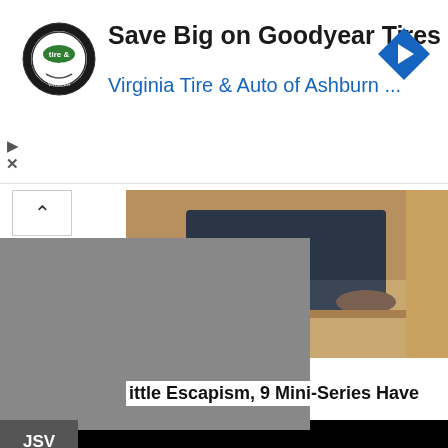[Figure (screenshot): Advertisement banner for Virginia Tire & Auto of Ashburn. Shows circular logo with 'tire & auto' text on left, bold headline 'Save Big on Goodyear Tires', blue subtext 'Virginia Tire & Auto of Ashburn ...', blue diamond navigation arrow icon on right. Play and close (X) control icons on far left.]
Save Big on Goodyear Tires
Virginia Tire & Auto of Ashburn ...
[Figure (screenshot): Partial webpage screenshot showing a content article image (person crouching near stairs), gray overlay block, and partial article headline text 'Little Escapism, 9 Mini-Series Have'. A chevron-up button is visible. Below, a JSV-labeled tag and a large black video player area with two small dot indicators.]